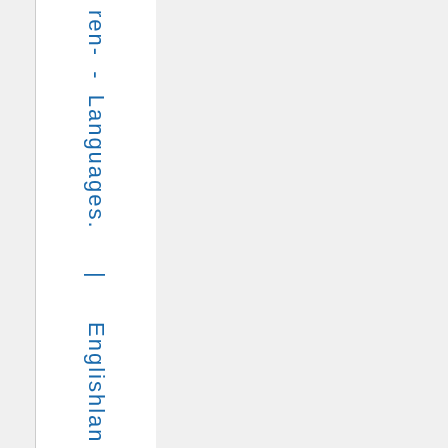ren- - Languages. | Englishlan